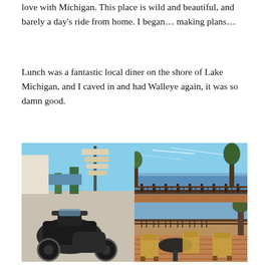love with Michigan. This place is wild and beautiful, and barely a day's ride from home. I began… making plans…
Lunch was a fantastic local diner on the shore of Lake Michigan, and I caved in and had Walleye again, it was so damn good.
[Figure (photo): Two photos side by side: left shows a motorcycle parked near a lakeside building with a sign stack and blue sky; right is split top/bottom — top shows Lake Michigan shoreline with blue sky and trees, bottom shows a restaurant deck/patio with chairs and tables overlooking the lake.]